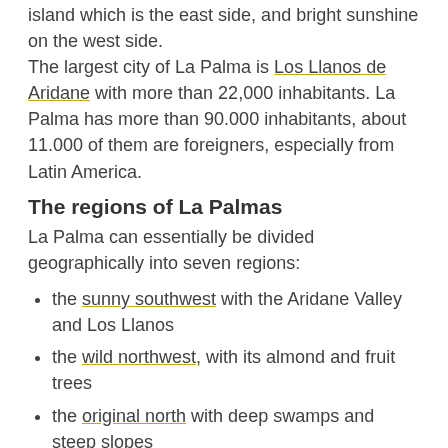island which is the east side, and bright sunshine on the west side. The largest city of La Palma is Los Llanos de Aridane with more than 22,000 inhabitants. La Palma has more than 90.000 inhabitants, about 11.000 of them are foreigners, especially from Latin America.
The regions of La Palmas
La Palma can essentially be divided geographically into seven regions:
the sunny southwest with the Aridane Valley and Los Llanos
the wild northwest, with its almond and fruit trees
the original north with deep swamps and steep slopes
the damp northeast, often cloudy due to the trade wind
the vibrant south-east, characterized by bustle